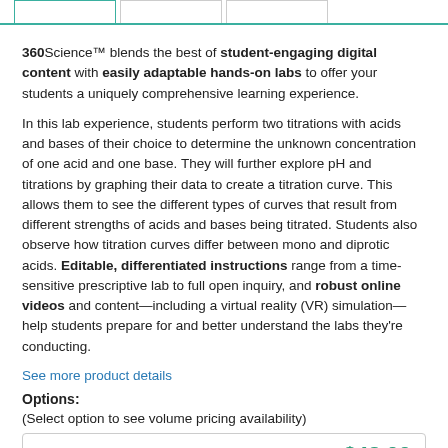[Tab bar with three tabs at top]
360Science™ blends the best of student-engaging digital content with easily adaptable hands-on labs to offer your students a uniquely comprehensive learning experience.
In this lab experience, students perform two titrations with acids and bases of their choice to determine the unknown concentration of one acid and one base. They will further explore pH and titrations by graphing their data to create a titration curve. This allows them to see the different types of curves that result from different strengths of acids and bases being titrated. Students also observe how titration curves differ between mono and diprotic acids. Editable, differentiated instructions range from a time-sensitive prescriptive lab to full open inquiry, and robust online videos and content—including a virtual reality (VR) simulation—help students prepare for and better understand the labs they're conducting.
See more product details
Options:
(Select option to see volume pricing availability)
| Option | Price |
| --- | --- |
| 1 Year (AR10600) | $43.00 |